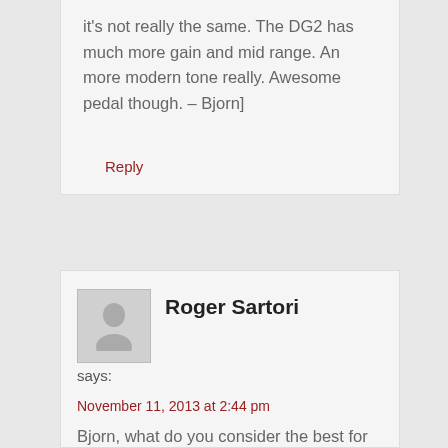it's not really the same. The DG2 has much more gain and mid range. An more modern tone really. Awesome pedal though. – Bjorn]
Reply
Roger Sartori
says:
November 11, 2013 at 2:44 pm
Bjorn, what do you consider the best for Pulse and